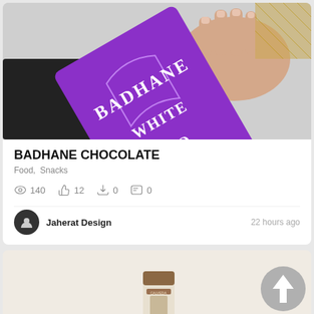[Figure (photo): A hand holding a purple chocolate bar package labeled BADHANE WHITE CHOCOLATE SUGAR FREE]
BADHANE CHOCOLATE
Food, Snacks
140 views, 12 likes, 0 saves, 0 comments
Jaherat Design  22 hours ago
[Figure (photo): Partial view of a second card showing a product tube/package on a beige background with an up arrow button]